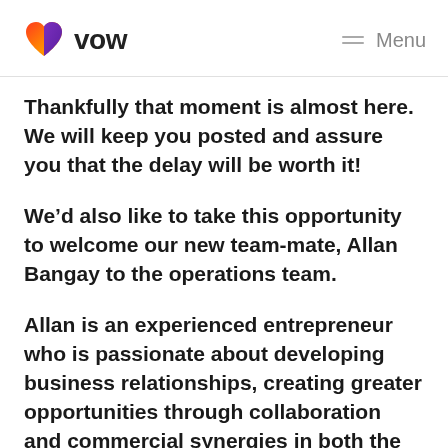vow  Menu
Thankfully that moment is almost here. We will keep you posted and assure you that the delay will be worth it!
We’d also like to take this opportunity to welcome our new team-mate, Allan Bangay to the operations team.
Allan is an experienced entrepreneur who is passionate about developing business relationships, creating greater opportunities through collaboration and commercial synergies in both the private and public